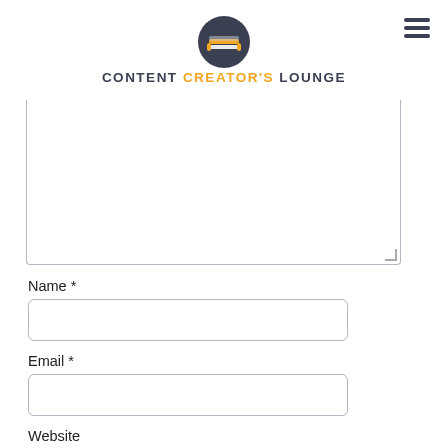[Figure (logo): Content Creator's Lounge logo: circular dark grey badge with a yellow/orange couch icon, and text CONTENT CREATOR'S LOUNGE in bold uppercase with CREATOR'S in orange]
Name *
Email *
Website